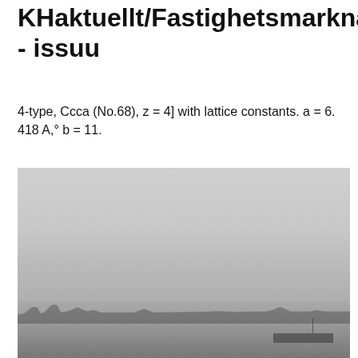KHaktuellt/Fastighetsmarknaden - issuu
4-type, Ccca (No.68), z = 4] with lattice constants. a = 6. 418 A,° b = 11.
[Figure (photo): A misty, foggy seascape with distant shoreline silhouettes and ships barely visible through the haze. Low visibility conditions with grey tones throughout.]